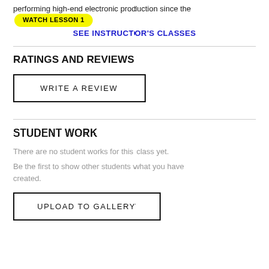performing high-end electronic production since the WATCH LESSON 1
SEE INSTRUCTOR'S CLASSES
RATINGS AND REVIEWS
WRITE A REVIEW
STUDENT WORK
There are no student works for this class yet.
Be the first to show other students what you have created.
UPLOAD TO GALLERY